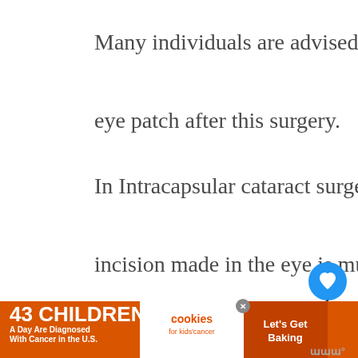Many individuals are advised to use an eye patch after this surgery.
In Intracapsular cataract surgery, the incision made in the eye is much larger as compared to that of extracapsular cataract surgery. This also places the intraocular lens in front of the iris
method is not so common as it is done
[Figure (screenshot): Web page UI elements: a blue circular heart/like button, a count of 1, a share button, a WHAT'S NEXT panel with a dark circular thumbnail and text 'How Long Does IDGod...', and an advertisement banner reading '43 CHILDREN A Day Are Diagnosed With Cancer in the U.S.' alongside 'cookies for kids cancer' and 'Let's Get Baking' with a close button and a wordmark.]